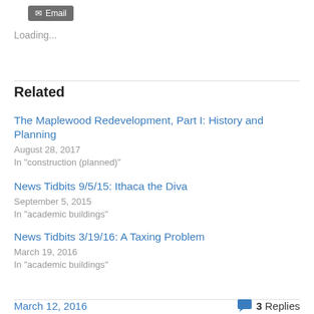[Figure (other): Email button graphic]
Loading...
Related
The Maplewood Redevelopment, Part I: History and Planning
August 28, 2017
In "construction (planned)"
News Tidbits 9/5/15: Ithaca the Diva
September 5, 2015
In "academic buildings"
News Tidbits 3/19/16: A Taxing Problem
March 19, 2016
In "academic buildings"
March 12, 2016   💬 3 Replies